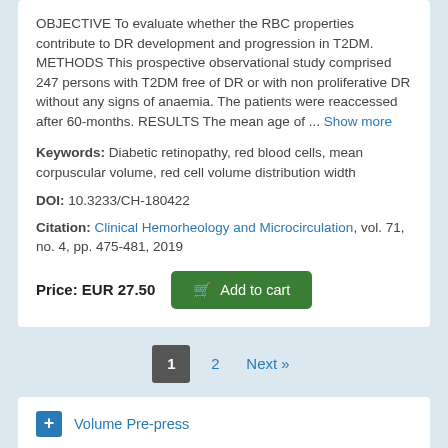OBJECTIVE To evaluate whether the RBC properties contribute to DR development and progression in T2DM. METHODS This prospective observational study comprised 247 persons with T2DM free of DR or with non proliferative DR without any signs of anaemia. The patients were reaccessed after 60-months. RESULTS The mean age of ... Show more
Keywords: Diabetic retinopathy, red blood cells, mean corpuscular volume, red cell volume distribution width
DOI: 10.3233/CH-180422
Citation: Clinical Hemorheology and Microcirculation, vol. 71, no. 4, pp. 475-481, 2019
Price: EUR 27.50
1 2 Next »
Volume Pre-press
Volume 81